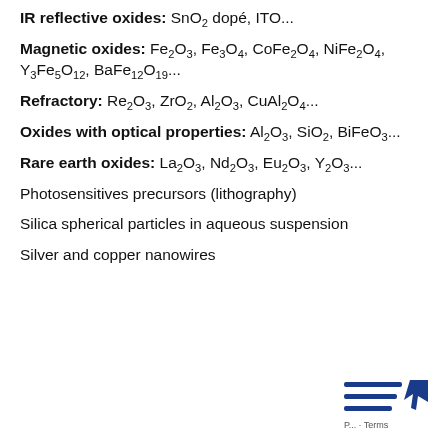IR reflective oxides: SnO2 dopé, ITO...
Magnetic oxides: Fe2O3, Fe3O4, CoFe2O4, NiFe2O4, Y3Fe5O12, BaFe12O19...
Refractory: Re2O3, ZrO2, Al2O3, CuAl2O4...
Oxides with optical properties: Al2O3, SiO2, BiFeO3...
Rare earth oxides: La2O3, Nd2O3, Eu2O3, Y2O3...
Photosensitives precursors (lithography)
Silica spherical particles in aqueous suspension
Silver and copper nanowires
[Figure (logo): Company logo with horizontal blue lines and arrow icon, with 'Terms' text]